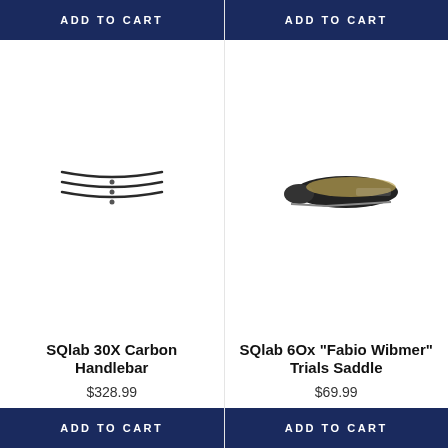ADD TO CART
[Figure (photo): SQlab 30X Carbon Handlebar product photo showing three curved carbon handlebar rails]
SQlab 30X Carbon Handlebar
$328.99
ADD TO CART
ADD TO CART
[Figure (photo): SQlab 6Ox Fabio Wibmer Trials Saddle product photo showing a black and gold bicycle saddle]
SQlab 6Ox "Fabio Wibmer" Trials Saddle
$69.99
ADD TO CART